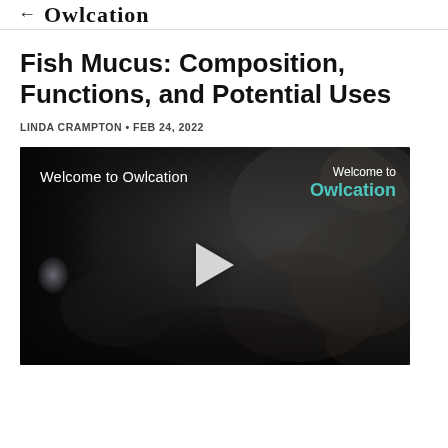Owlcation
Fish Mucus: Composition, Functions, and Potential Uses
LINDA CRAMPTON • FEB 24, 2022
[Figure (screenshot): Video player thumbnail with dark rocky background, play button in center, text 'Welcome to Owlcation' on left and 'Welcome to Owlcation' branding on right in teal]